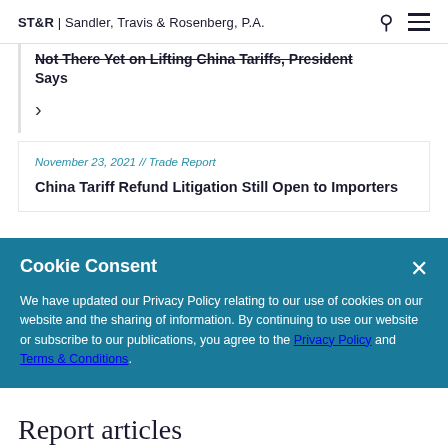ST&R | Sandler, Travis & Rosenberg, P.A.
Not There Yet on Lifting China Tariffs, President Says
>
November 23, 2021 // Trade Report
China Tariff Refund Litigation Still Open to Importers
Cookie Consent
We have updated our Privacy Policy relating to our use of cookies on our website and the sharing of information. By continuing to use our website or subscribe to our publications, you agree to the Privacy Policy and Terms & Conditions.
Report articles